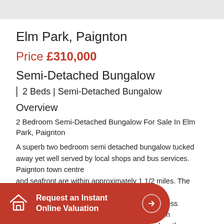Elm Park, Paignton
Price £310,000
Semi-Detached Bungalow
2 Beds | Semi-Detached Bungalow
Overview
2 Bedroom Semi-Detached Bungalow For Sale In Elm Park, Paignton
A superb two bedroom semi detached bungalow tucked away yet well served by local shops and bus services. Paignton town centre and seafront are within approximately 1 1/2 miles. The bungalow is situated to benefit from excellent sea views across Torbay. There are most delightful gardens which are a joy to any gardener. The property also has the benefit of double glazing and gas central heating. A drive allows off
[Figure (infographic): Red pill-shaped button overlay reading 'Request an Instant Online Valuation' with a house icon and arrow icon]